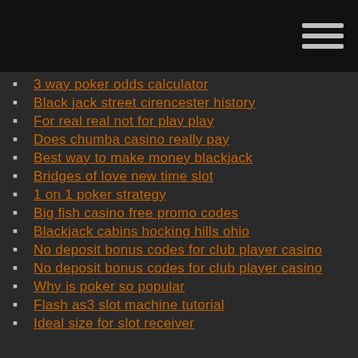3 way poker odds calculator
Black jack street cirencester history
For real real not for play play
Does chumba casino really pay
Best way to make money blackjack
Bridges of love new time slot
1 on 1 poker strategy
Big fish casino free promo codes
Blackjack cabins hocking hills ohio
No deposit bonus codes for club player casino
No deposit bonus codes for club player casino
Why is poker so popular
Flash as3 slot machine tutorial
Ideal size for slot receiver